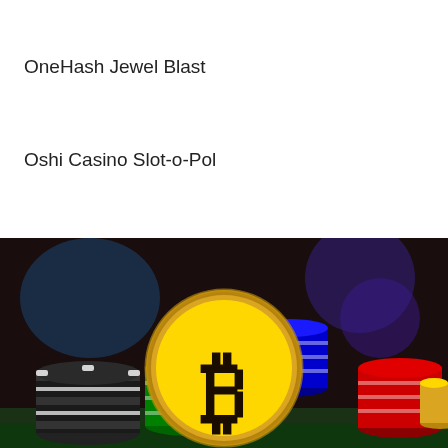OneHash Jewel Blast
Oshi Casino Slot-o-Pol
Betcoin.ag Casino Dolphins Treasure
[Figure (photo): A gold Bitcoin coin standing upright in front of stacks of colorful casino poker chips (green, blue, red, black/white striped) on a dark bokeh background with blue and purple light spots.]